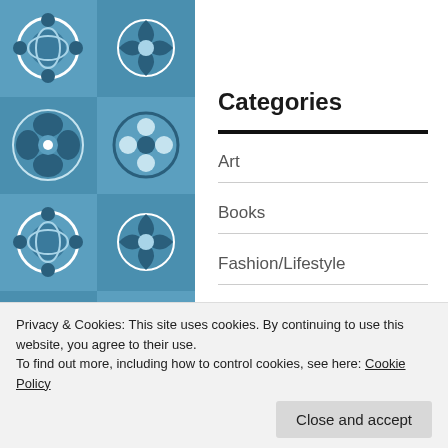Categories
Art
Books
Fashion/Lifestyle
Festivals
Film
Privacy & Cookies: This site uses cookies. By continuing to use this website, you agree to their use.
To find out more, including how to control cookies, see here: Cookie Policy
Music/Dance